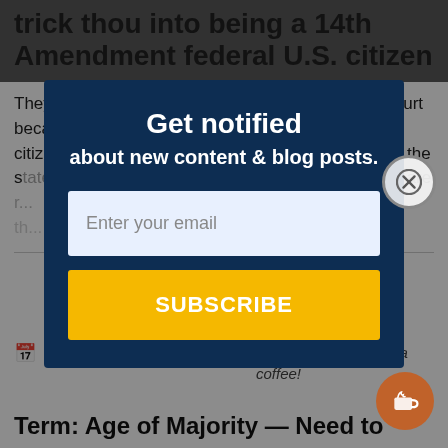trick thou into being a 14th Amendment federal U.S. citizen
They ask if thou is a 'resident' on all forms and in court because their system is geared to 14th Amendment citizens who are federal citizens and also citizens in the state they reside in. The word 'resident' means thou are a resident...
[Figure (screenshot): Email subscription modal popup with dark navy background, title 'Get notified about new content & blog posts.', email input field, and yellow SUBSCRIBE button]
You can now buy me a coffee!
Term: Age of Majority — Need to...